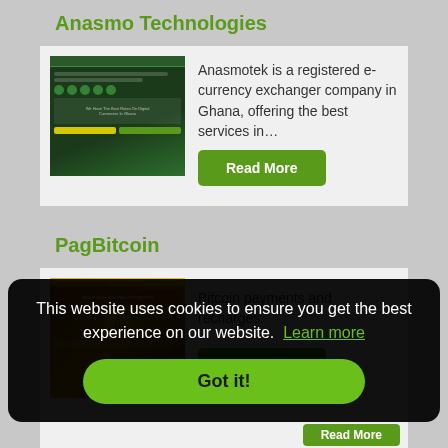Anasmo Technologies
[Figure (screenshot): Screenshot thumbnail of Anasmo Technologies website showing dark green interface with icons and buttons]
Anasmotek is a registered e-currency exchanger company in Ghana, offering the best services in…
Read More
PagBitcoin
[Figure (screenshot): Screenshot thumbnail of PagBitcoin website showing golden bitcoin coin imagery with red banner text]
Bitcoin payments and recharges.
Read More
This website uses cookies to ensure you get the best experience on our website.  Learn more
Got it!
Read More